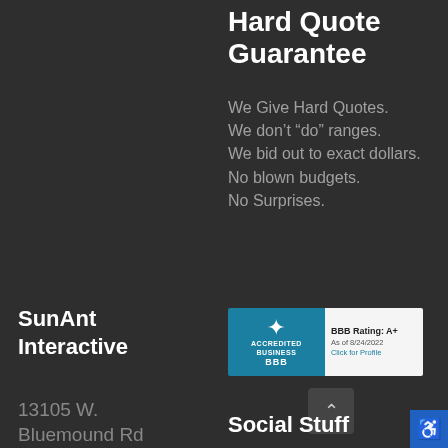Hard Quote Guarantee
We Give Hard Quotes.
We don’t “do” ranges.
We bid out to exact dollars.
No blown budgets.
No Surprises.
SunAnt Interactive
[Figure (logo): BBB Accredited Business badge with rating A+ as of 8/24/2022, click for profile]
13105 W. Bluemound Rd
Social Stuff